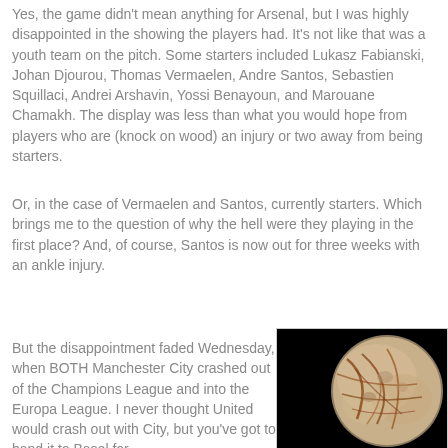Yes, the game didn't mean anything for Arsenal, but I was highly disappointed in the showing the players had. It's not like that was a youth team on the pitch. Some starters included Lukasz Fabianski, Johan Djourou, Thomas Vermaelen, Andre Santos, Sebastien Squillaci, Andrei Arshavin, Yossi Benayoun, and Marouane Chamakh. The display was less than what you would hope from players who are (knock on wood) an injury or two away from being starters.
Or, in the case of Vermaelen and Santos, currently starters. Which brings me to the question of why the hell were they playing in the first place? And, of course, Santos is now out for three weeks with an ankle injury.
But the disappointment faded Wednesday, when BOTH Manchester City crashed out of the Champions League and into the Europa League. I never thought United would crash out with City, but you've got to hand it to Basel for...
[Figure (photo): Photo of Europa moon (Jupiter's moon), showing an icy surface with brown/reddish streaks on a black background.]